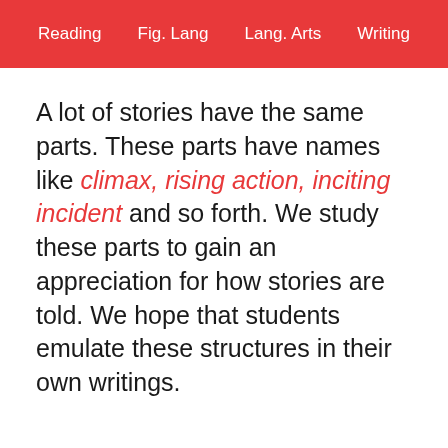Reading    Fig. Lang    Lang. Arts    Writing
A lot of stories have the same parts. These parts have names like climax, rising action, inciting incident and so forth. We study these parts to gain an appreciation for how stories are told. We hope that students emulate these structures in their own writings.
How great would it be to read a narrative essay that had a climax? Before students can write those in their stories consistently, they have to learn about turning points.